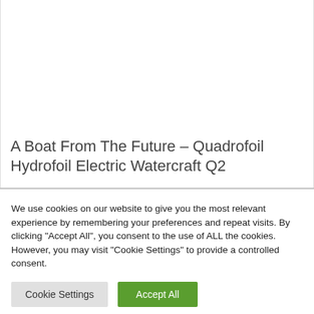A Boat From The Future – Quadrofoil Hydrofoil Electric Watercraft Q2
We use cookies on our website to give you the most relevant experience by remembering your preferences and repeat visits. By clicking "Accept All", you consent to the use of ALL the cookies. However, you may visit "Cookie Settings" to provide a controlled consent.
Cookie Settings
Accept All